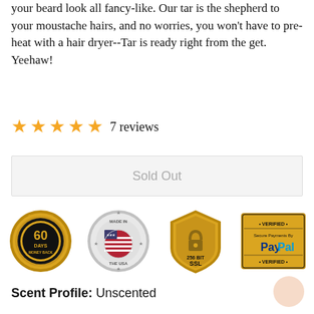your beard look all fancy-like.  Our tar is the shepherd to your moustache hairs, and no worries, you won't have to pre-heat with a hair dryer--Tar is ready right from the get.  Yeehaw!
★★★★★ 7 reviews
Sold Out
[Figure (infographic): Four trust badges in a row: 60 Days Money Back guarantee (gold medallion), Made in The USA (silver coin with US flag), 256 Bit SSL security (gold shield with padlock), Verified Secure Payments by PayPal (gold badge).]
Scent Profile: Unscented